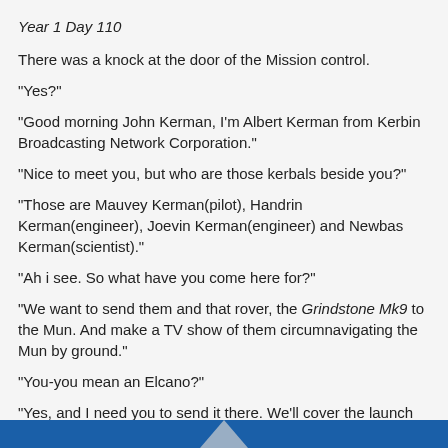Year 1 Day 110
There was a knock at the door of the Mission control.
"Yes?"
"Good morning John Kerman, I'm Albert Kerman from Kerbin Broadcasting Network Corporation."
"Nice to meet you, but who are those kerbals beside you?"
"Those are Mauvey Kerman(pilot), Handrin Kerman(engineer), Joevin Kerman(engineer) and Newbas Kerman(scientist)."
"Ah i see. So what have you come here for?"
"We want to send them and that rover, the Grindstone Mk9 to the Mun. And make a TV show of them circumnavigating the Mun by ground."
"You-you mean an Elcano?"
"Yes, and I need you to send it there. We'll cover the launch costs."
"It's a deal."
[Figure (photo): Blue bar at the bottom of the page with a partial figure visible]